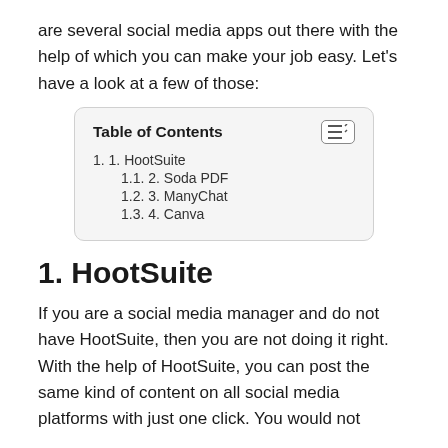are several social media apps out there with the help of which you can make your job easy. Let's have a look at a few of those:
| Table of Contents |
| --- |
| 1. HootSuite |
| 1.1. 2. Soda PDF |
| 1.2. 3. ManyChat |
| 1.3. 4. Canva |
1. HootSuite
If you are a social media manager and do not have HootSuite, then you are not doing it right. With the help of HootSuite, you can post the same kind of content on all social media platforms with just one click. You would not